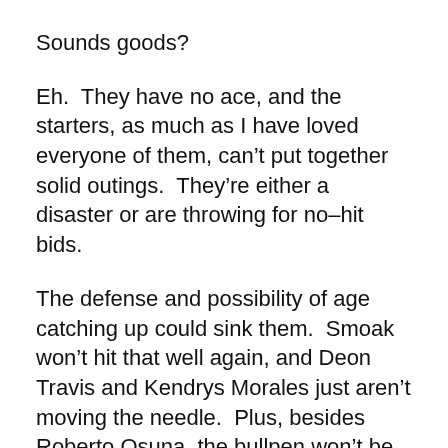Sounds goods?
Eh.  They have no ace, and the starters, as much as I have loved everyone of them, can't put together solid outings.  They're either a disaster or are throwing for no–hit bids.
The defense and possibility of age catching up could sink them.  Smoak won't hit that well again, and Deon Travis and Kendrys Morales just aren't moving the needle.  Plus, besides Roberto Osuna, the bullpen won't be able to save the rotation.
I'm still going over.  I think they can win